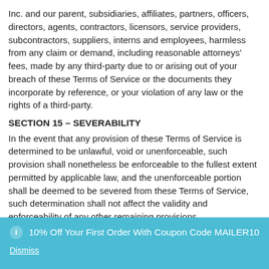Inc. and our parent, subsidiaries, affiliates, partners, officers, directors, agents, contractors, licensors, service providers, subcontractors, suppliers, interns and employees, harmless from any claim or demand, including reasonable attorneys' fees, made by any third-party due to or arising out of your breach of these Terms of Service or the documents they incorporate by reference, or your violation of any law or the rights of a third-party.
SECTION 15 – SEVERABILITY
In the event that any provision of these Terms of Service is determined to be unlawful, void or unenforceable, such provision shall nonetheless be enforceable to the fullest extent permitted by applicable law, and the unenforceable portion shall be deemed to be severed from these Terms of Service, such determination shall not affect the validity and enforceability of any other remaining provisions.
10% Off Your First Order With Coupon Code MAILER10
Dismiss